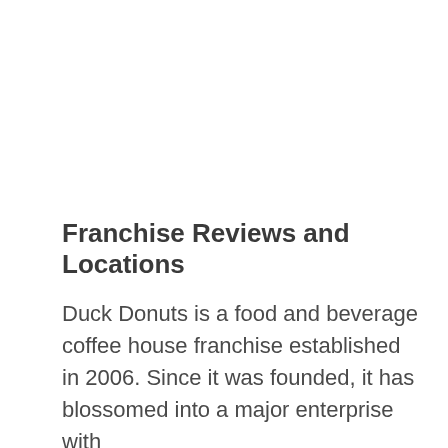Franchise Reviews and Locations
Duck Donuts is a food and beverage coffee house franchise established in 2006. Since it was founded, it has blossomed into a major enterprise with